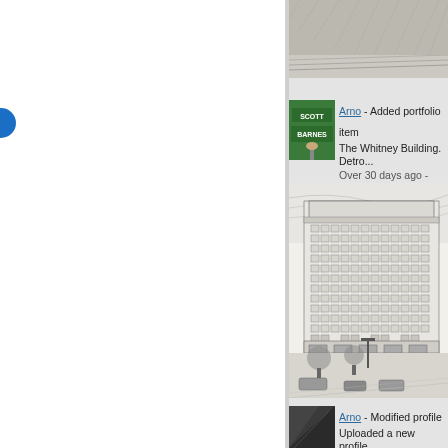[Figure (photo): Partial view of a sketch/illustration at the very top of the page (cropped)]
[Figure (photo): Street sign thumbnail showing 'SCOTT' and 'BARNES' green street signs]
Arno - Added portfolio item The Whitney Building. Detro... Over 30 days ago - Like
[Figure (illustration): Detailed architectural pen-and-ink illustration of The Whitney Building in Detroit, a tall multi-story building with ornate classical detailing, street-level trees and vehicles]
[Figure (photo): Thumbnail showing partial view of a dark angular architectural element, for the second activity item]
Arno - Modified profile Uploaded a new profile...